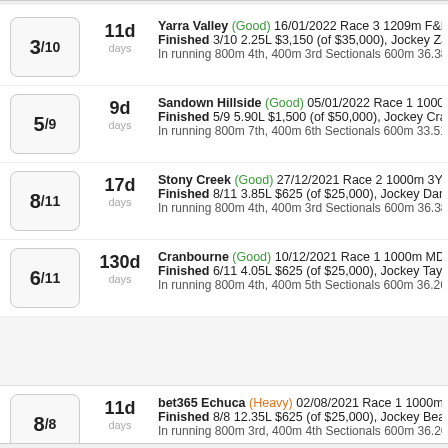Yarra Valley (Good) 16/01/2022 Race 3 1209m F&M MDN Finished 3/10 2.25L $3,150 (of $35,000), Jockey Zac Spa In running 800m 4th, 400m 3rd Sectionals 600m 36.380s
Sandown Hillside (Good) 05/01/2022 Race 1 1000m 3Y M Finished 5/9 5.90L $1,500 (of $50,000), Jockey Craig Will In running 800m 7th, 400m 6th Sectionals 600m 33.510s
Stony Creek (Good) 27/12/2021 Race 2 1000m 3Y MDN- Finished 8/11 3.85L $625 (of $25,000), Jockey Daniel Mo In running 800m 4th, 400m 3rd Sectionals 600m 36.380s
Cranbourne (Good) 10/12/2021 Race 1 1000m MDN-SW Finished 6/11 4.05L $625 (of $25,000), Jockey Tayla Chil In running 800m 4th, 400m 5th Sectionals 600m 36.260s
bet365 Echuca (Heavy) 02/08/2021 Race 1 1000m 3YF M Finished 8/8 12.35L $625 (of $25,000), Jockey Beau Mer In running 800m 3rd, 400m 4th Sectionals 600m 36.260s
Cranbourne (Heavy) 22/07/2021 Race 1 1000m 2Y MDN- Finished 5/11 4.60L $1,050 (of $35,000), Jockey Craig W In running 800m 7th, 400m 8th Sectionals 600m 37.460s
Jump to top